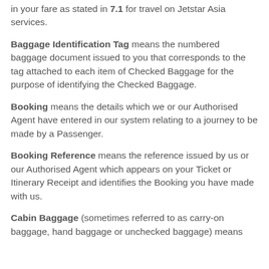in your fare as stated in 7.1 for travel on Jetstar Asia services.
Baggage Identification Tag means the numbered baggage document issued to you that corresponds to the tag attached to each item of Checked Baggage for the purpose of identifying the Checked Baggage.
Booking means the details which we or our Authorised Agent have entered in our system relating to a journey to be made by a Passenger.
Booking Reference means the reference issued by us or our Authorised Agent which appears on your Ticket or Itinerary Receipt and identifies the Booking you have made with us.
Cabin Baggage (sometimes referred to as carry-on baggage, hand baggage or unchecked baggage) means